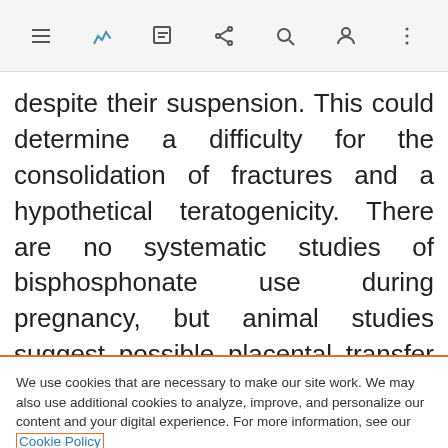Navigation bar with menu, bookmark, edit, share, search, profile, and more icons
despite their suspension. This could determine a difficulty for the consolidation of fractures and a hypothetical teratogenicity. There are no systematic studies of bisphosphonate use during pregnancy, but animal studies suggest possible placental transfer and fetal skeletal development involvement.
We use cookies that are necessary to make our site work. We may also use additional cookies to analyze, improve, and personalize our content and your digital experience. For more information, see our Cookie Policy
Cookie settings
Accept all cookies